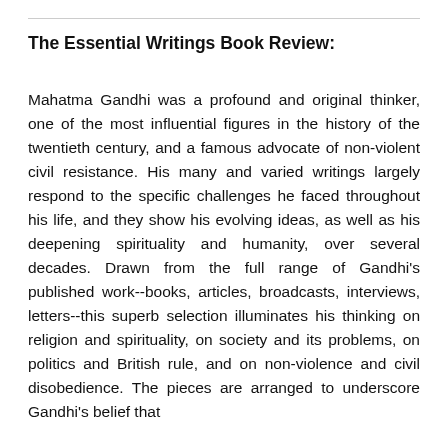The Essential Writings Book Review:
Mahatma Gandhi was a profound and original thinker, one of the most influential figures in the history of the twentieth century, and a famous advocate of non-violent civil resistance. His many and varied writings largely respond to the specific challenges he faced throughout his life, and they show his evolving ideas, as well as his deepening spirituality and humanity, over several decades. Drawn from the full range of Gandhi's published work--books, articles, broadcasts, interviews, letters--this superb selection illuminates his thinking on religion and spirituality, on society and its problems, on politics and British rule, and on non-violence and civil disobedience. The pieces are arranged to underscore Gandhi's belief that